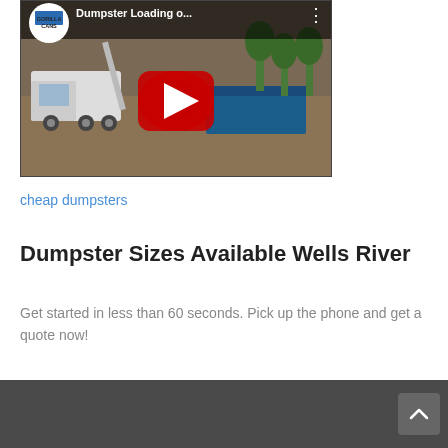[Figure (screenshot): YouTube video thumbnail showing a Gorilla Cans truck loading a dumpster, with red play button overlay. Title reads 'Dumpster Loading o...' with channel logo and three-dot menu.]
cheap dumpsters
Dumpster Sizes Available Wells River
Get started in less than 60 seconds. Pick up the phone and get a quote now!
[Figure (screenshot): Dark grey bottom navigation bar with a white upward chevron button on the right side.]